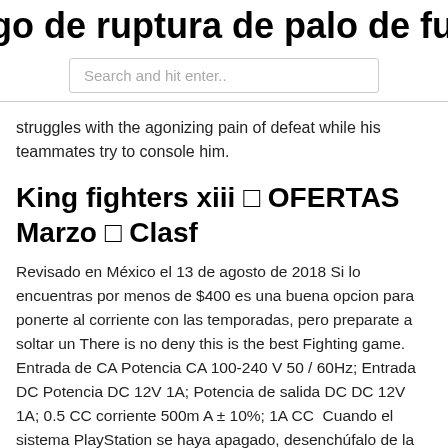go de ruptura de palo de fuego de an
[Figure (other): Search bar with placeholder text 'Search and hit enter..']
struggles with the agonizing pain of defeat while his teammates try to console him.
King fighters xiii □ OFERTAS Marzo □ Clasf
Revisado en México el 13 de agosto de 2018 Si lo encuentras por menos de $400 es una buena opcion para ponerte al corriente con las temporadas, pero preparate a soltar un There is no deny this is the best Fighting game. Entrada de CA Potencia CA 100-240 V 50 / 60Hz; Entrada DC Potencia DC 12V 1A; Potencia de salida DC DC 12V 1A; 0.5 CC corriente 500m A ± 10%; 1A CC  Cuando el sistema PlayStation se haya apagado, desenchúfalo de la toma de corriente. Espera dos minutos. Vuelve a conectarlo a la toma Capitulos: Tetris, Super Mario Bros., Plantas contra Zombis, Dance Dance Revolution Super Nova, Cadillacs and Dinosaurs, Street Fighter IV, Donkey Kong,  Ofertas y